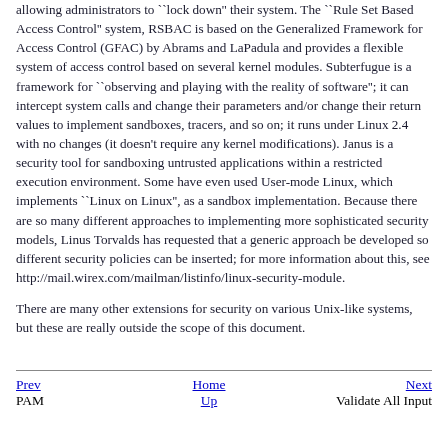allowing administrators to ``lock down'' their system. The ``Rule Set Based Access Control'' system, RSBAC is based on the Generalized Framework for Access Control (GFAC) by Abrams and LaPadula and provides a flexible system of access control based on several kernel modules. Subterfugue is a framework for ``observing and playing with the reality of software''; it can intercept system calls and change their parameters and/or change their return values to implement sandboxes, tracers, and so on; it runs under Linux 2.4 with no changes (it doesn't require any kernel modifications). Janus is a security tool for sandboxing untrusted applications within a restricted execution environment. Some have even used User-mode Linux, which implements ``Linux on Linux'', as a sandbox implementation. Because there are so many different approaches to implementing more sophisticated security models, Linus Torvalds has requested that a generic approach be developed so different security policies can be inserted; for more information about this, see http://mail.wirex.com/mailman/listinfo/linux-security-module.
There are many other extensions for security on various Unix-like systems, but these are really outside the scope of this document.
Prev  Home  Next
PAM  Up  Validate All Input